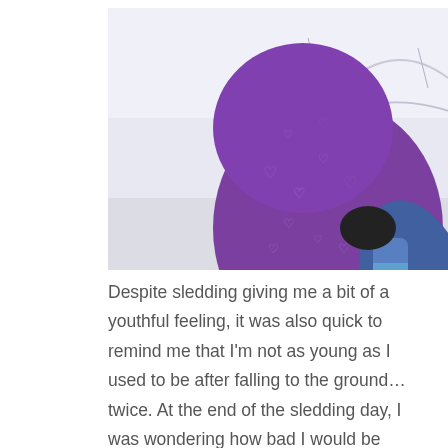[Figure (photo): Overhead view of a child in a purple heart-patterned winter jacket and blue jeans sitting in snow, with blue boots visible. Snow is visible on the ground with a beige/orange sled below.]
Despite sledding giving me a bit of a youthful feeling, it was also quick to remind me that I'm not as young as I used to be after falling to the ground… twice. At the end of the sledding day, I was wondering how bad I would be hurting the next day. But the day's bumpy rides are always worth the rewards at the end of the